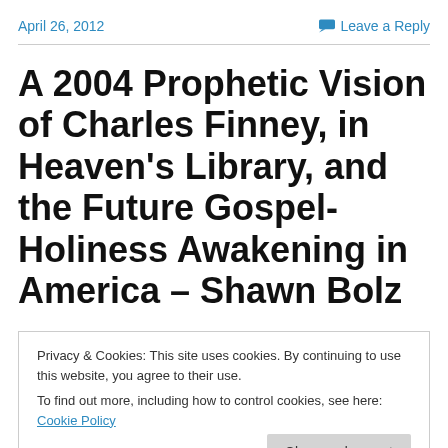April 26, 2012   Leave a Reply
A 2004 Prophetic Vision of Charles Finney, in Heaven's Library, and the Future Gospel-Holiness Awakening in America – Shawn Bolz
Privacy & Cookies: This site uses cookies. By continuing to use this website, you agree to their use.
To find out more, including how to control cookies, see here: Cookie Policy
by Shawn Bolz